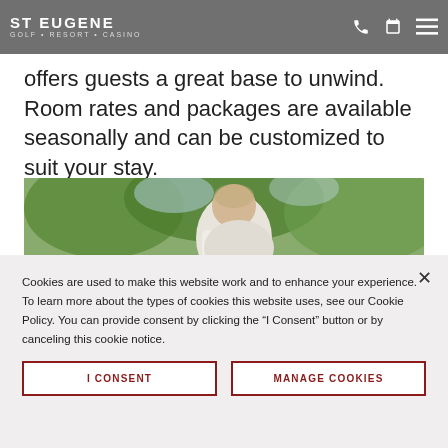St Eugene Golf Resort Casino
offers guests a great base to unwind. Room rates and packages are available seasonally and can be customized to suit your stay.
[Figure (photo): Man in white shirt leaning over on a golf course, green trees in background]
Cookies are used to make this website work and to enhance your experience. To learn more about the types of cookies this website uses, see our Cookie Policy. You can provide consent by clicking the "I Consent" button or by canceling this cookie notice.
I CONSENT | MANAGE COOKIES